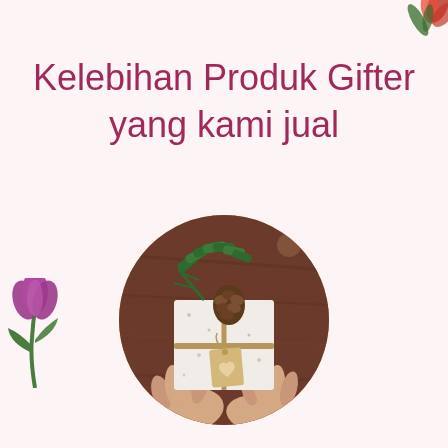[Figure (illustration): Decorative pink/red flower petals and green leaf in top-right corner]
Kelebihan Produk Gifter yang kami jual
[Figure (photo): Circular cropped photo of hands holding a wrapped gift box decorated with pine branches and a pine cone, with a kraft paper tag, on a wooden table background]
[Figure (illustration): Purple tulip flower with green leaves in bottom-left corner]